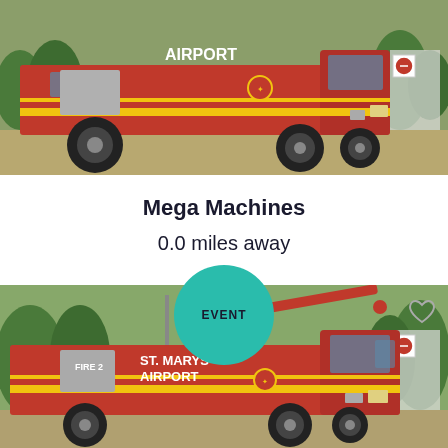[Figure (photo): Red airport fire truck labeled 'AIRPORT' in yellow letters, side view showing large off-road tires, yellow stripe detail, and fire brigade badge. Photographed outdoors on tarmac with trees and road signs visible in background.]
Mega Machines
0.0 miles away
[Figure (photo): Red fire truck labeled 'ST. MARYS AIRPORT' and 'FIRE 2' in white letters with yellow stripe, featuring a red elevated nozzle/monitor arm on top. EVENT badge overlay in teal/green circle at top center. Heart/favorite icon at top right. Trees and road signs visible in background.]